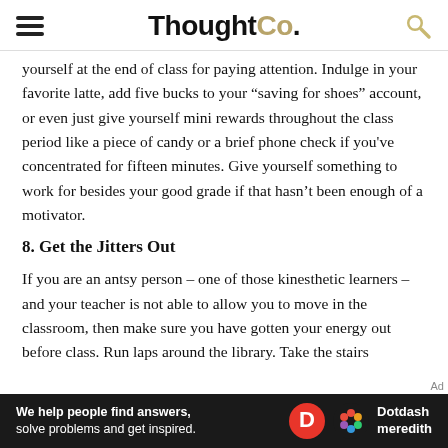ThoughtCo.
yourself at the end of class for paying attention. Indulge in your favorite latte, add five bucks to your “saving for shoes” account, or even just give yourself mini rewards throughout the class period like a piece of candy or a brief phone check if you've concentrated for fifteen minutes. Give yourself something to work for besides your good grade if that hasn’t been enough of a motivator.
8. Get the Jitters Out
If you are an antsy person – one of those kinesthetic learners – and your teacher is not able to allow you to move in the classroom, then make sure you have gotten your energy out before class. Run laps around the library. Take the stairs
We help people find answers, solve problems and get inspired. Dotdash meredith